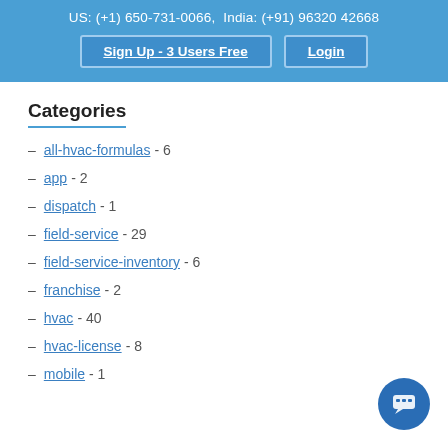US: (+1) 650-731-0066,  India: (+91) 96320 42668
Sign Up - 3 Users Free | Login
Categories
– all-hvac-formulas - 6
– app - 2
– dispatch - 1
– field-service - 29
– field-service-inventory - 6
– franchise - 2
– hvac - 40
– hvac-license - 8
– mobile - 1